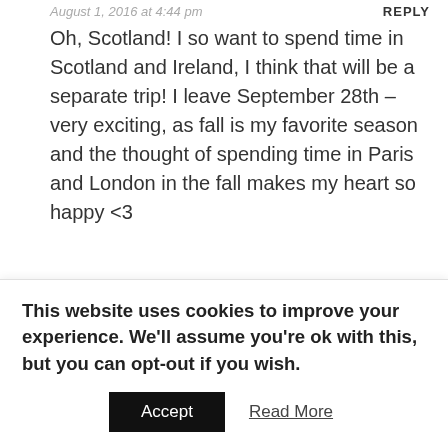August 1, 2016 at 4:44 pm    REPLY
Oh, Scotland! I so want to spend time in Scotland and Ireland, I think that will be a separate trip! I leave September 28th – very exciting, as fall is my favorite season and the thought of spending time in Paris and London in the fall makes my heart so happy <3
[Figure (photo): Circular avatar photo of a woman with dark hair, smiling]
M...
This website uses cookies to improve your experience. We'll assume you're ok with this, but you can opt-out if you wish. Accept   Read More